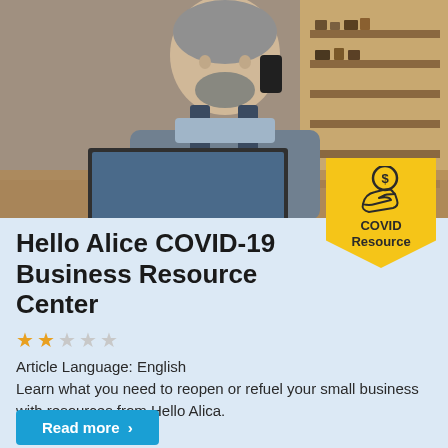[Figure (photo): A middle-aged man in work overalls talking on a phone while using a laptop, with shelving of tools/hardware in the background.]
[Figure (infographic): Yellow shield/pennant badge with a coin-on-hand icon and text 'COVID Resource']
Hello Alice COVID-19 Business Resource Center
Article Language: English
Learn what you need to reopen or refuel your small business with resources from Hello Alica.
Read more >